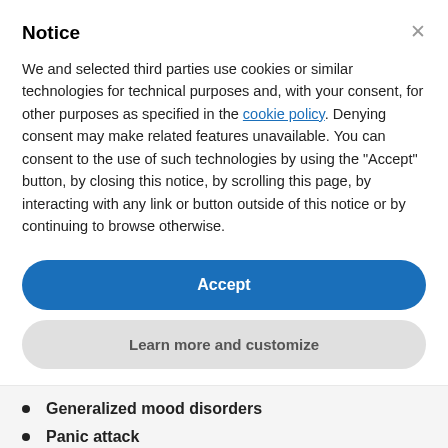Notice
We and selected third parties use cookies or similar technologies for technical purposes and, with your consent, for other purposes as specified in the cookie policy. Denying consent may make related features unavailable. You can consent to the use of such technologies by using the "Accept" button, by closing this notice, by scrolling this page, by interacting with any link or button outside of this notice or by continuing to browse otherwise.
Accept
Learn more and customize
Generalized mood disorders
Panic attack
Nausea